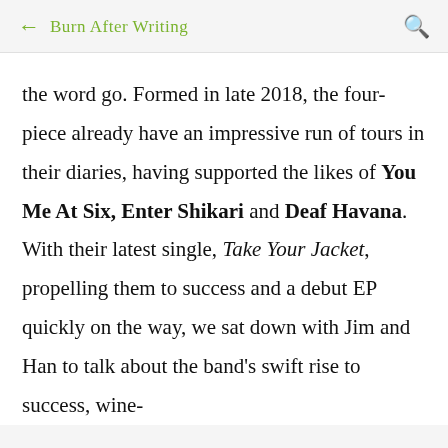← Burn After Writing 🔍
the word go. Formed in late 2018, the four-piece already have an impressive run of tours in their diaries, having supported the likes of You Me At Six, Enter Shikari and Deaf Havana. With their latest single, Take Your Jacket, propelling them to success and a debut EP quickly on the way, we sat down with Jim and Han to talk about the band's swift rise to success, wine-